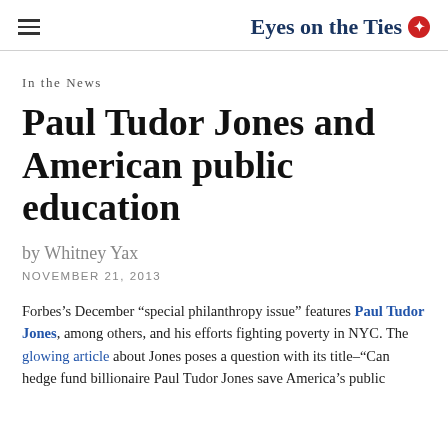Eyes on the Ties
In the News
Paul Tudor Jones and American public education
by Whitney Yax
NOVEMBER 21, 2013
Forbes’s December “special philanthropy issue” features Paul Tudor Jones, among others, and his efforts fighting poverty in NYC. The glowing article about Jones poses a question with its title–“Can hedge fund billionaire Paul Tudor Jones save America’s public